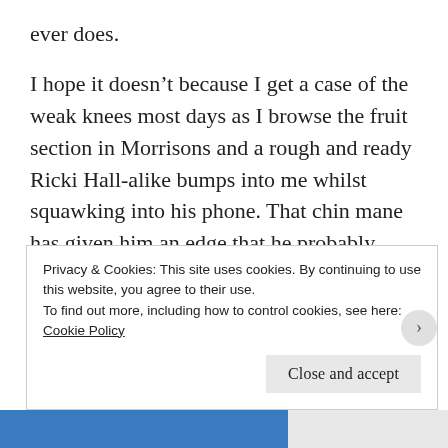ever does.
I hope it doesn’t because I get a case of the weak knees most days as I browse the fruit section in Morrisons and a rough and ready Ricki Hall-alike bumps into me whilst squawking into his phone. That chin mane has given him an edge that he probably doesn’t deserve but I can’t be mad at him. He’s seen his window and has the ability to grow a garden on his face, good luck to him I say.
S— — — —— — — — — — — — —
Privacy & Cookies: This site uses cookies. By continuing to use this website, you agree to their use.
To find out more, including how to control cookies, see here:
Cookie Policy
Close and accept